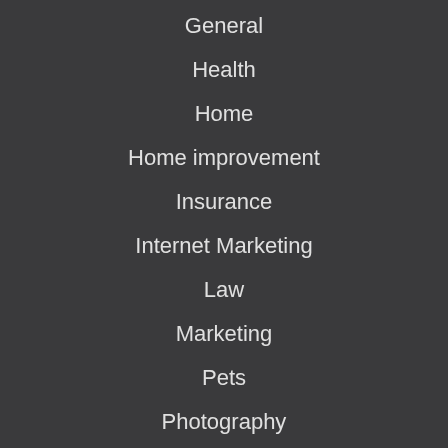General
Health
Home
Home improvement
Insurance
Internet Marketing
Law
Marketing
Pets
Photography
Real Estate
SEO
Shopping